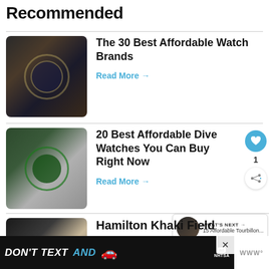Recommended
The 30 Best Affordable Watch Brands
Read More →
20 Best Affordable Dive Watches You Can Buy Right Now
Read More →
WHAT'S NEXT → 15 Affordable Tourbillon...
Hamilton Khaki Field
[Figure (screenshot): Advertisement banner: DON'T TEXT AND [car emoji] with ad logo and NHTSA text, close button]
DON'T TEXT AND